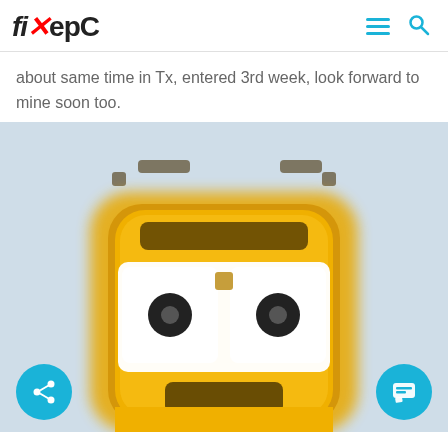fiXepC
about same time in Tx, entered 3rd week, look forward to mine soon too.
[Figure (illustration): A blurry/pixelated cartoon robot bee character with yellow body, large white square eyes with dark pupils, small antennae with rectangular ends, centered on a light blue-grey background. Share and comment buttons at bottom corners.]